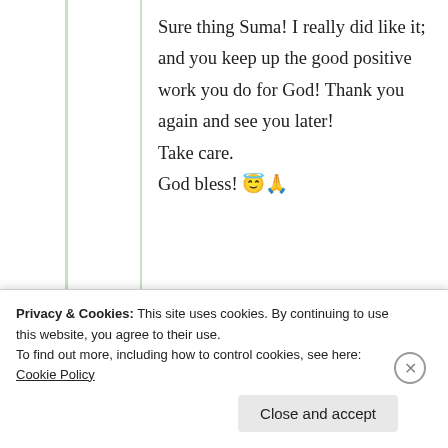Sure thing Suma! I really did like it; and you keep up the good positive work you do for God! Thank you again and see you later!
Take care.
God bless! 😇🙏
★ Liked by 1 person
Privacy & Cookies: This site uses cookies. By continuing to use this website, you agree to their use. To find out more, including how to control cookies, see here: Cookie Policy
Close and accept